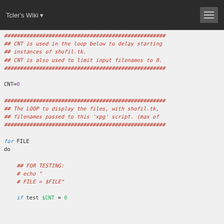Tcler's Wiki
Code block showing shell script with comments and for loop: CNT=0, for FILE do, if test $CNT = 0